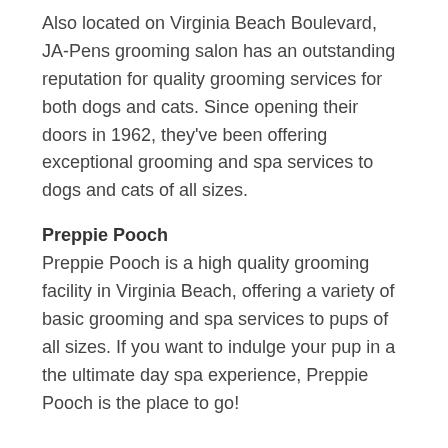Also located on Virginia Beach Boulevard, JA-Pens grooming salon has an outstanding reputation for quality grooming services for both dogs and cats. Since opening their doors in 1962, they've been offering exceptional grooming and spa services to dogs and cats of all sizes.
Preppie Pooch
Preppie Pooch is a high quality grooming facility in Virginia Beach, offering a variety of basic grooming and spa services to pups of all sizes. If you want to indulge your pup in a the ultimate day spa experience, Preppie Pooch is the place to go!